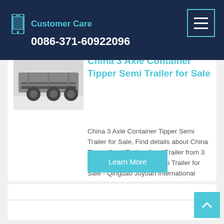Customer Care
0086-371-60922096
China 3 Axle Container Tipper Semi Trailer for Sale
China 3 Axle Container Tipper Semi Trailer for Sale, Find details about China Tipper Semi Trailer, Semi Trailer from 3 Axle Container Tipper Semi Trailer for Sale - Qingdao Juyuan International Trading Co., Ltd.
[Figure (photo): Undercarriage view of a semi trailer showing axles and suspension components]
Learn More